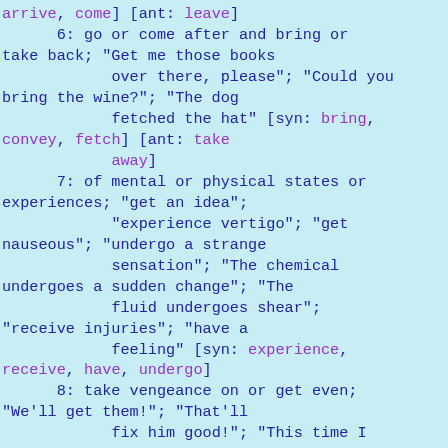arrive, come] [ant: leave]
      6: go or come after and bring or take back; "Get me those books
            over there, please"; "Could you bring the wine?"; "The dog
            fetched the hat" [syn: bring, convey, fetch] [ant: take
            away]
      7: of mental or physical states or experiences; "get an idea";
            "experience vertigo"; "get nauseous"; "undergo a strange
            sensation"; "The chemical undergoes a sudden change"; "The
            fluid undergoes shear";
"receive injuries"; "have a
            feeling" [syn: experience, receive, have, undergo]
      8: take vengeance on or get even;
"We'll get them!"; "That'll
            fix him good!"; "This time I